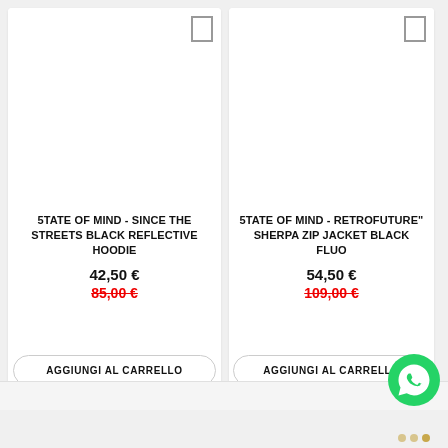[Figure (screenshot): Product card for 5TATE OF MIND - SINCE THE STREETS BLACK REFLECTIVE HOODIE with white image area and wishlist icon]
5TATE OF MIND - SINCE THE STREETS BLACK REFLECTIVE HOODIE
42,50 €
85,00 €
AGGIUNGI AL CARRELLO
[Figure (screenshot): Product card for 5TATE OF MIND - RETROFUTURE" SHERPA ZIP JACKET BLACK FLUO with white image area and wishlist icon]
5TATE OF MIND - RETROFUTURE" SHERPA ZIP JACKET BLACK FLUO
54,50 €
109,00 €
AGGIUNGI AL CARRELLO